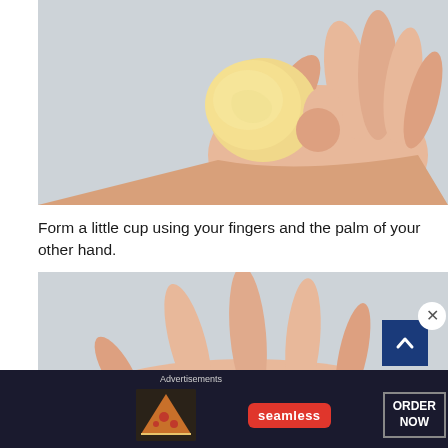[Figure (photo): A hand holding a small round ball of dough between fingers against a light gray background.]
Form a little cup using your fingers and the palm of your other hand.
[Figure (photo): An open palm holding a small round piece of dough, viewed from above against a light gray background.]
[Figure (other): Advertisement banner: Advertisements label above a dark banner showing pizza on the left, a red Seamless logo in the center, and an ORDER NOW button on the right.]